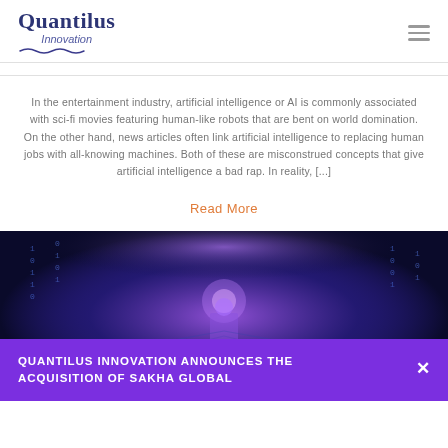Quantilus Innovation
In the entertainment industry, artificial intelligence or AI is commonly associated with sci-fi movies featuring human-like robots that are bent on world domination. On the other hand, news articles often link artificial intelligence to replacing human jobs with all-knowing machines. Both of these are misconstrued concepts that give artificial intelligence a bad rap. In reality, [...]
Read More
[Figure (photo): Dark futuristic digital corridor with glowing binary code and purple/blue lighting, suggesting AI or technology theme]
QUANTILUS INNOVATION ANNOUNCES THE ACQUISITION OF SAKHA GLOBAL